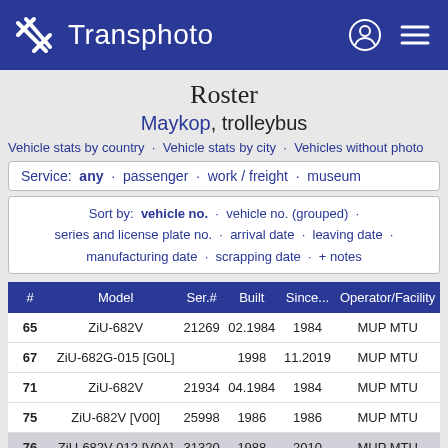Transphoto
Roster
Maykop, trolleybus
Vehicle stats by country · Vehicle stats by city · Vehicles without photo
Service: any · passenger · work / freight · museum
Sort by: vehicle no. · vehicle no. (grouped) · series and license plate no. · arrival date · leaving date · manufacturing date · scrapping date · + notes
| # | Model | Ser.# | Built | Since... | Operator/Facility |
| --- | --- | --- | --- | --- | --- |
| 65 | ZiU-682V | 21269 | 02.1984 | 1984 | MUP MTU |
| 67 | ZiU-682G-015 [G0L] |  | 1998 | 11.2019 | MUP MTU |
| 71 | ZiU-682V | 21934 | 04.1984 | 1984 | MUP MTU |
| 75 | ZiU-682V [V00] | 25998 | 1986 | 1986 | MUP MTU |
| 76 | ZiU-682V-012 [V0A] | 31320 | 1988 | 2010 | MUP MTU |